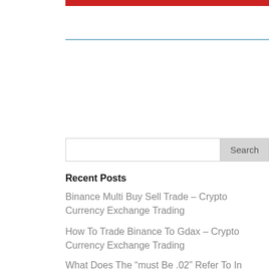[Figure (other): Red navigation bar at top of page]
[Figure (other): Light blue horizontal divider line]
Search
Recent Posts
Binance Multi Buy Sell Trade – Crypto Currency Exchange Trading
How To Trade Binance To Gdax – Crypto Currency Exchange Trading
What Does The “must Be .02” Refer To In